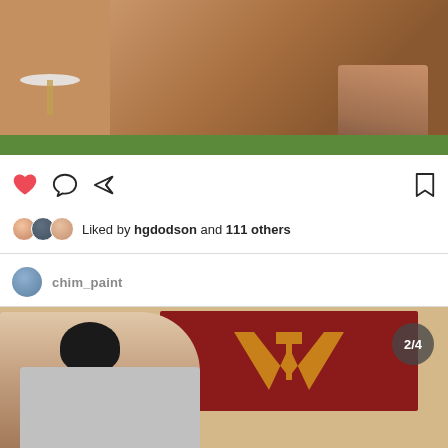[Figure (photo): Partial top view of a post image showing person's legs, feet with sandals, a colorful striped cushion/hammock, and grass background]
[Figure (other): Action icons row: red heart (like), comment bubble, share/send arrow, and bookmark icon on the right]
Liked by hgdodson and 111 others
chim_paint
[Figure (photo): Second post image showing a person leaning over a desk/laptop with a Virginia Tech (VT) maroon and orange flag/banner on the wall behind them. Badge shows 2/4.]